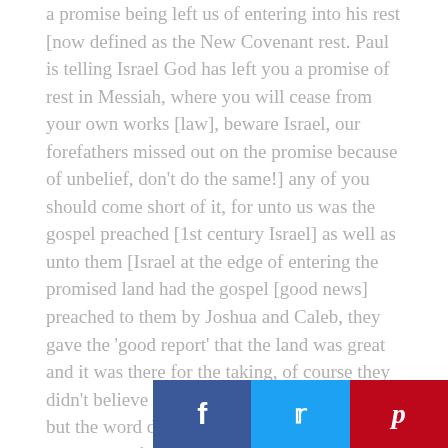a promise being left us of entering into his rest [now defined as the New Covenant rest. Paul is telling Israel God has left you a promise of rest in Messiah, where you will cease from your own works [law], beware Israel, our forefathers missed out on the promise because of unbelief, don't do the same!] any of you should come short of it, for unto us was the gospel preached [1st century Israel] as well as unto them [Israel at the edge of entering the promised land had the gospel [good news] preached to them by Joshua and Caleb, they gave the 'good report' that the land was great and it was there for the taking, of course they didn't believe and therefore couldn't take it] but the word did not profit them, not being mixed with faith in them that heard it.
For WE WHICH HAVE BELEIVED [the rem... were believing in the first century were e...
[Figure (other): Social share buttons: Facebook (blue), Twitter (light blue), Pinterest (red) overlaid on bottom-right of page]